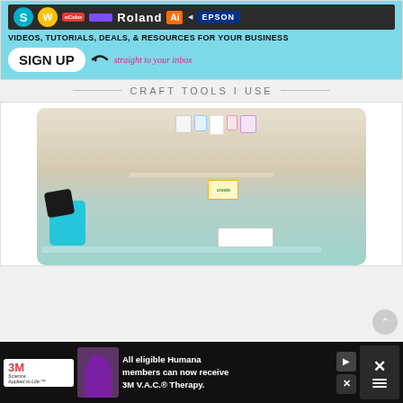[Figure (infographic): Sign-up banner ad with brand logos (Silhouette, WordArt, nColor, Roland, Adobe Illustrator, Epson) on dark background, with tagline 'VIDEOS, TUTORIALS, DEALS, & RESOURCES FOR YOUR BUSINESS straight to your inbox' and a SIGN UP button on cyan/teal background]
CRAFT TOOLS I USE
[Figure (photo): Photo of a craft room with teal/turquoise heat press machine, shelves with craft supplies, markers, boxes, and a cutting machine on a worktable]
[Figure (infographic): 3M Science Applied to Life advertisement banner - All eligible Humana members can now receive 3M V.A.C. Therapy. Shows person in medical scrubs with dismiss/close button.]